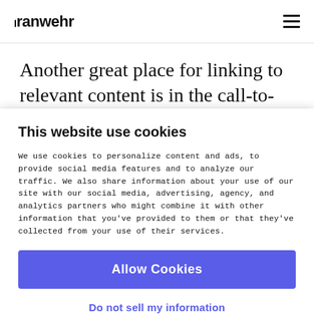Granwehr
Another great place for linking to relevant content is in the call-to-action. You can link to other web pages on your site that might
This website use cookies
We use cookies to personalize content and ads, to provide social media features and to analyze our traffic. We also share information about your use of our site with our social media, advertising, agency, and analytics partners who might combine it with other information that you've provided to them or that they've collected from your use of their services.
Allow Cookies
Do not sell my information